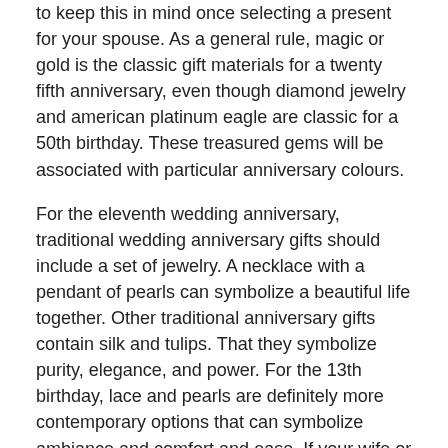to keep this in mind once selecting a present for your spouse. As a general rule, magic or gold is the classic gift materials for a twenty fifth anniversary, even though diamond jewelry and american platinum eagle are classic for a 50th birthday. These treasured gems will be associated with particular anniversary colours.
For the eleventh wedding anniversary, traditional wedding anniversary gifts should include a set of jewelry. A necklace with a pendant of pearls can symbolize a beautiful life together. Other traditional anniversary gifts contain silk and tulips. That they symbolize purity, elegance, and power. For the 13th birthday, lace and pearls are definitely more contemporary options that can symbolize ambiance and comfort and ease. If your wife or husband may be a fashionista, you should purchase earrings that reflects that.
Post Views: 36
This entry was posted in Uncategorized. Bookmark the permalink.